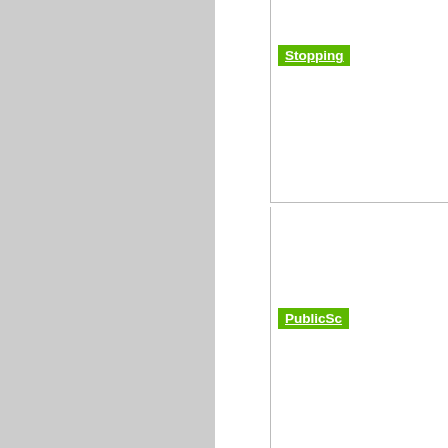[Figure (screenshot): Green badge labeled 'Stopping' (partially visible) in upper right area]
[Figure (screenshot): Green badge labeled 'PublicSc' (partially visible) in middle right area]
Preferred Name: Cygnus Academy
History of Names:
| Name |
| --- |
| CYGNUS ACADEMY |
| CYGNUS ACADEMY |